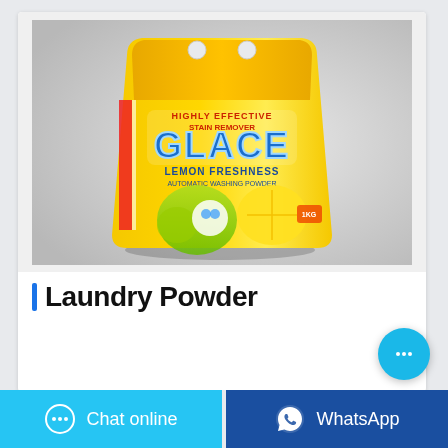[Figure (photo): Product photo of a yellow and orange laundry powder bag labeled 'GLACE Lemon Freshness', shown on a light grey background. The bag has a handle and red striped accents.]
Laundry Powder
Chat online
WhatsApp